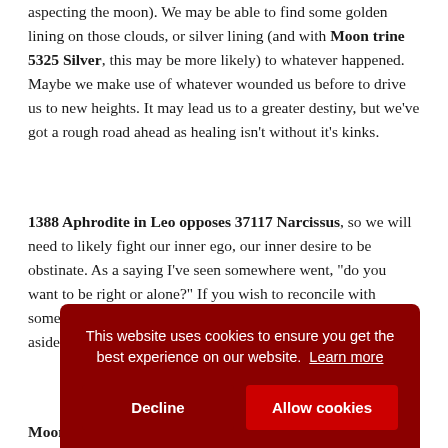aspecting the moon). We may be able to find some golden lining on those clouds, or silver lining (and with Moon trine 5325 Silver, this may be more likely) to whatever happened. Maybe we make use of whatever wounded us before to drive us to new heights. It may lead us to a greater destiny, but we've got a rough road ahead as healing isn't without it's kinks.
1388 Aphrodite in Leo opposes 37117 Narcissus, so we will need to likely fight our inner ego, our inner desire to be obstinate. As a saying I've seen somewhere went, "do you want to be right or alone?" If you wish to reconcile with someone, you're going to have to put your own selfish desires aside. 4386 Lust sextile... which... conv... happ... fortu... whi...
Moon/Kassandra conjunction, which makes a different kind of
This website uses cookies to ensure you get the best experience on our website. Learn more
Decline
Allow cookies